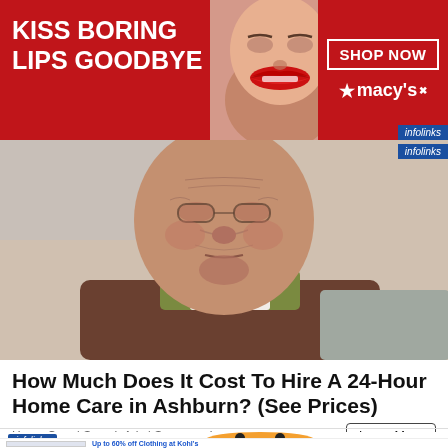[Figure (photo): Top banner advertisement: Macy's lipstick ad with text 'KISS BORING LIPS GOODBYE', image of red lips, 'SHOP NOW' box, and Macy's star logo on red background. Infolinks badge visible.]
[Figure (photo): Close-up photo of elderly person's face and neck with very wrinkled skin, wearing layered clothing. Background is blurred indoor setting.]
How Much Does It Cost To Hire A 24-Hour Home Care in Ashburn? (See Prices)
Home Care | Search Ads | Sponsored
[Figure (illustration): Infolinks badge (blue) and partial cartoon character image at bottom of page]
[Figure (screenshot): Kohl's advertisement banner: 'Up to 60% off Clothing at Kohl's' with thumbnail image of Kohl's savings display, text 'Save up to 60% on clothing and homeware at Kohl's.com', URL 'kohls.com', and blue circular arrow button. Close X button visible.]